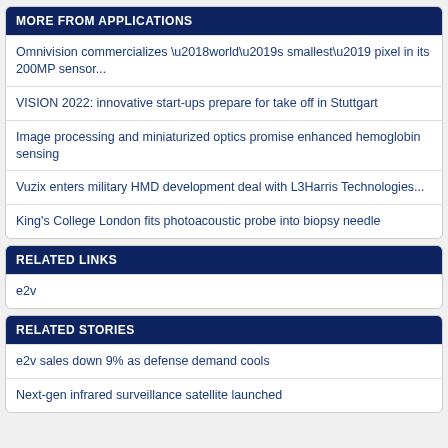MORE FROM APPLICATIONS
Omnivision commercializes ‘world’s smallest’ pixel in its 200MP sensor...
VISION 2022: innovative start-ups prepare for take off in Stuttgart
Image processing and miniaturized optics promise enhanced hemoglobin sensing
Vuzix enters military HMD development deal with L3Harris Technologies...
King's College London fits photoacoustic probe into biopsy needle
RELATED LINKS
e2v
RELATED STORIES
e2v sales down 9% as defense demand cools
Next-gen infrared surveillance satellite launched